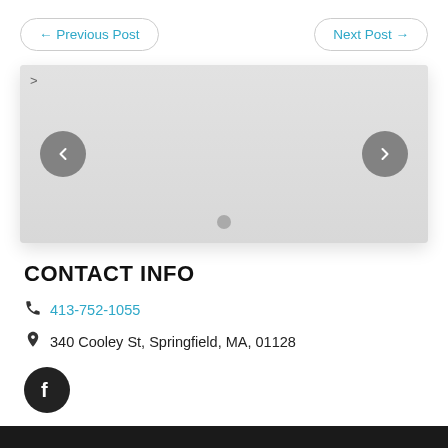← Previous Post
Next Post →
[Figure (other): Image slideshow carousel with left and right navigation arrows and a dot indicator at the bottom]
CONTACT INFO
413-752-1055
340 Cooley St, Springfield, MA, 01128
[Figure (logo): Facebook icon button — circular black button with white 'f' logo]